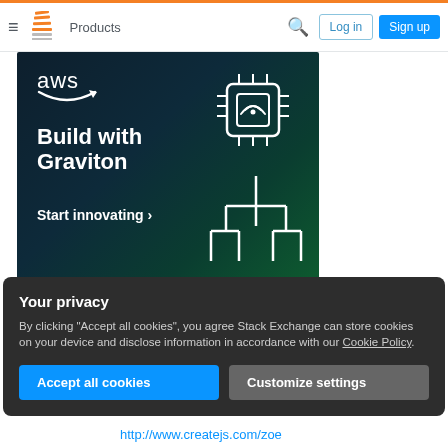Products | Log in | Sign up
[Figure (screenshot): AWS advertisement banner: 'Build with Graviton - Start innovating >' with chip and circuit board illustration on dark blue-green gradient background]
Your privacy
By clicking "Accept all cookies", you agree Stack Exchange can store cookies on your device and disclose information in accordance with our Cookie Policy.
[Accept all cookies] [Customize settings]
http://www.createjs.com/zoe